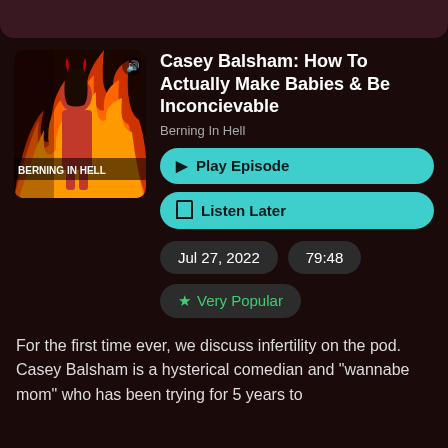[Figure (illustration): Podcast artwork for Berning In Hell showing a woman in red dress against fire background with devil horns, with text 'BERNING IN HELL']
Casey Balsham: How To Actually Make Babies & Be Inconcievable
Berning In Hell
▶ Play Episode
☐ Listen Later
Jul 27, 2022
79:48
★ Very Popular
For the first time ever, we discuss infertility on the pod. Casey Balsham is a hysterical comedian and "wannabe mom" who has been trying for 5 years to